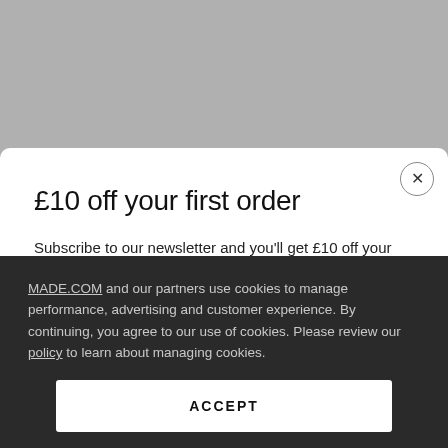[Figure (screenshot): Gray background representing a website behind a modal popup]
£10 off your first order
Subscribe to our newsletter and you'll get £10 off your first order, and news of our latest offers and product releases.
Email address
MADE.COM and our partners use cookies to manage performance, advertising and customer experience. By continuing, you agree to our use of cookies. Please review our policy to learn about managing cookies.
ACCEPT